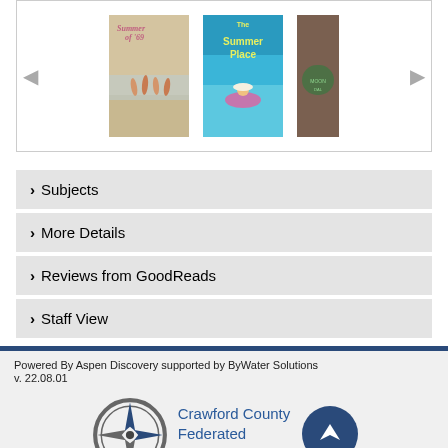[Figure (screenshot): Book carousel showing three book covers: 'Summer of 69', 'The Summer Place', and a partially visible third book, with left and right navigation arrows]
> Subjects
> More Details
> Reviews from GoodReads
> Staff View
Powered By Aspen Discovery supported by ByWater Solutions
v. 22.08.01
Crawford County Federated Library System
CONNECT WITH US